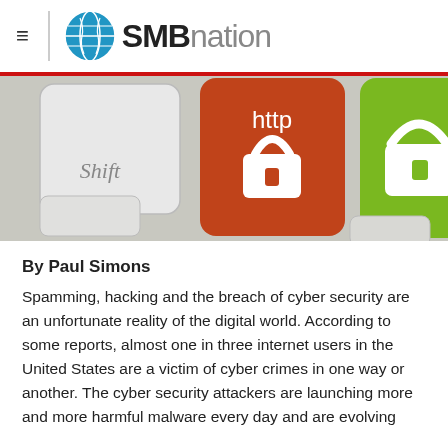SMBnation
[Figure (photo): Close-up of keyboard keys including a red key labeled 'http' with an open padlock icon and a green key with a closed padlock icon, suggesting cyber security themes.]
By Paul Simons
Spamming, hacking and the breach of cyber security are an unfortunate reality of the digital world. According to some reports, almost one in three internet users in the United States are a victim of cyber crimes in one way or another. The cyber security attackers are launching more and more harmful malware every day and are evolving